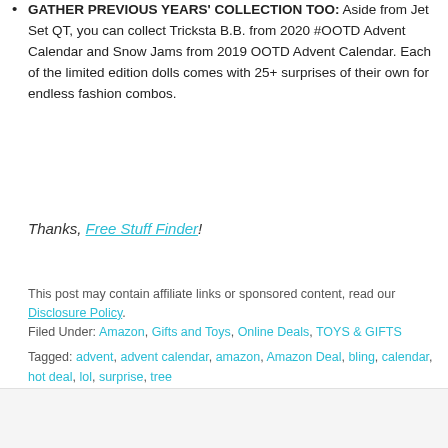GATHER PREVIOUS YEARS' COLLECTION TOO: Aside from Jet Set QT, you can collect Tricksta B.B. from 2020 #OOTD Advent Calendar and Snow Jams from 2019 OOTD Advent Calendar. Each of the limited edition dolls comes with 25+ surprises of their own for endless fashion combos.
Thanks, Free Stuff Finder!
This post may contain affiliate links or sponsored content, read our Disclosure Policy.
Filed Under: Amazon, Gifts and Toys, Online Deals, TOYS & GIFTS
Tagged: advent, advent calendar, amazon, Amazon Deal, bling, calendar, hot deal, lol, surprise, tree
[Figure (other): Advertisement banner for Crate Creatures Surprise Blizz with close button]